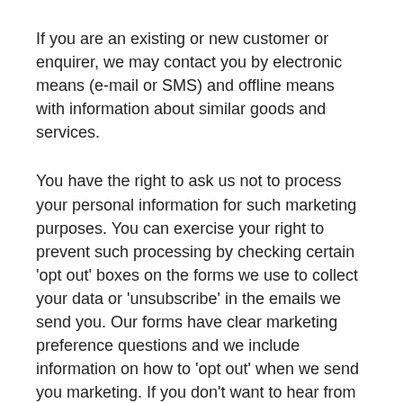If you are an existing or new customer or enquirer, we may contact you by electronic means (e-mail or SMS) and offline means with information about similar goods and services.
You have the right to ask us not to process your personal information for such marketing purposes. You can exercise your right to prevent such processing by checking certain 'opt out' boxes on the forms we use to collect your data or 'unsubscribe' in the emails we send you. Our forms have clear marketing preference questions and we include information on how to 'opt out' when we send you marketing. If you don't want to hear from us, that's fine. Just let us know by 'opting out' when you provide your data or contact us on 01525 722200 or digital@asphaltrs.co.uk.
We do not sell or share personal details to third parties for the purposes of marketing. But, if we run an event in partnership with another named organisation your details